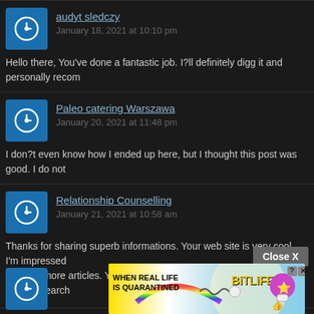audyt sledczy
January 18, 2021 at 10:10 pm
Hello there, You’ve done a fantastic job. I?ll definitely digg it and personally recom
Paleo catering Warszawa
January 20, 2021 at 11:48 pm
I don?t even know how I ended up here, but I thought this post was good. I do not
Relationship Counselling
January 21, 2021 at 10:58 am
Thanks for sharing superb informations. Your web site is very cool. I’m impressed back for more articles. You, my pal, ROCK! I found simply the info I already search
[Figure (screenshot): Close X button overlay and BitLife advertisement banner at bottom of page]